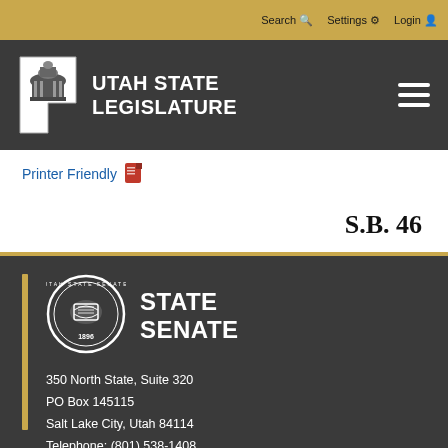Search  Settings  Login
[Figure (logo): Utah State Legislature logo with capitol building icon and site title]
Printer Friendly
S.B. 46
[Figure (logo): Utah State Senate seal, circular emblem with eagle and 1896]
STATE SENATE
350 North State, Suite 320
PO Box 145115
Salt Lake City, Utah 84114
Telephone: (801) 538-1408
https://senate.utah.gov